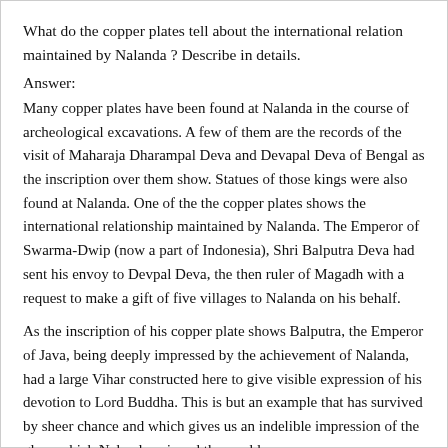What do the copper plates tell about the international relation maintained by Nalanda ? Describe in details.
Answer:
Many copper plates have been found at Nalanda in the course of archeological excavations. A few of them are the records of the visit of Maharaja Dharampal Deva and Devapal Deva of Bengal as the inscription over them show. Statues of those kings were also found at Nalanda. One of the the copper plates shows the international relationship maintained by Nalanda. The Emperor of Swarma-Dwip (now a part of Indonesia), Shri Balputra Deva had sent his envoy to Devpal Deva, the then ruler of Magadh with a request to make a gift of five villages to Nalanda on his behalf.
As the inscription of his copper plate shows Balputra, the Emperor of Java, being deeply impressed by the achievement of Nalanda, had a large Vihar constructed here to give visible expression of his devotion to Lord Buddha. This is but an example that has survived by sheer chance and which gives us an indelible impression of the glory which Nalanda enjoyed the world over.
Question: